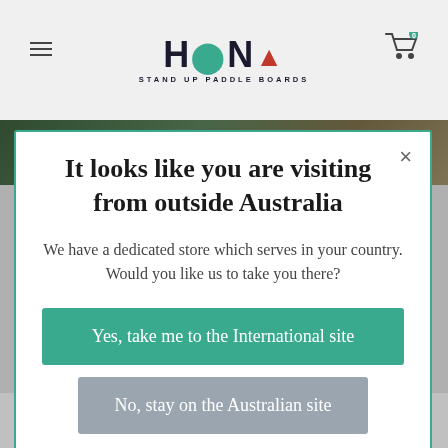[Figure (logo): HONU Stand Up Paddle Boards logo with stylized text and red shield emblem]
[Figure (photo): Background photo strip showing nature/outdoor scene in dark green and brown tones]
It looks like you are visiting from outside Australia
We have a dedicated store which serves in your country. Would you like us to take you there?
Yes, take me to the International site
No, stay on the Australian site